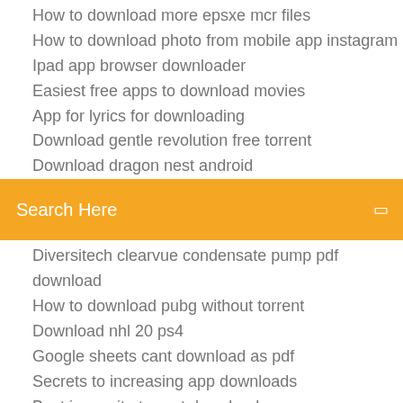How to download more epsxe mcr files
How to download photo from mobile app instagram
Ipad app browser downloader
Easiest free apps to download movies
App for lyrics for downloading
Download gentle revolution free torrent
Download dragon nest android
[Figure (other): Orange search bar with text 'Search Here' and a small icon on the right]
Diversitech clearvue condensate pump pdf download
How to download pubg without torrent
Download nhl 20 ps4
Google sheets cant download as pdf
Secrets to increasing app downloads
Best incognito torrent downloader
Crazy craft download for minecraft 1.6.4 edu
Shsh blobs for ios 10.2 download
Survivor s37e08 download-torrents uptobox
Il ragazzo invisibile download torrent